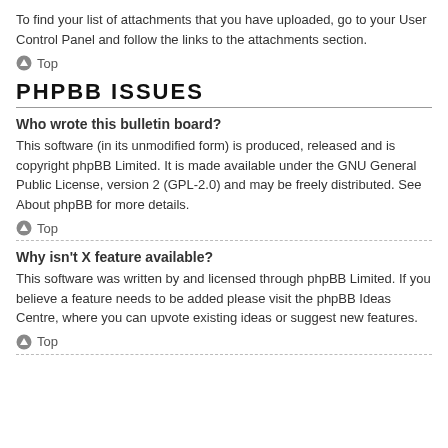To find your list of attachments that you have uploaded, go to your User Control Panel and follow the links to the attachments section.
⬆ Top
PHPBB ISSUES
Who wrote this bulletin board?
This software (in its unmodified form) is produced, released and is copyright phpBB Limited. It is made available under the GNU General Public License, version 2 (GPL-2.0) and may be freely distributed. See About phpBB for more details.
⬆ Top
Why isn't X feature available?
This software was written by and licensed through phpBB Limited. If you believe a feature needs to be added please visit the phpBB Ideas Centre, where you can upvote existing ideas or suggest new features.
⬆ Top